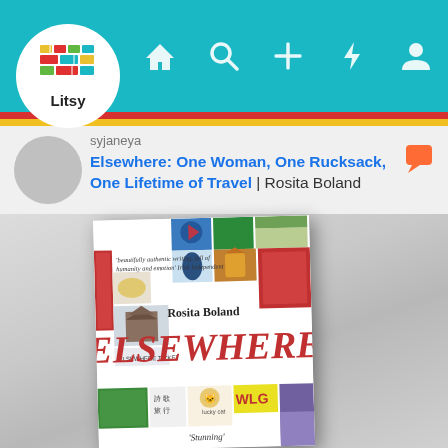[Figure (screenshot): Litsy app screenshot showing a book post. Top navigation bar in teal with home, search, plus, lightning bolt, and profile icons. Litsy logo (colorful stacked books) in white circle on left. Color stripes (red, yellow) below nav bar. User avatar and username area. Book title and author displayed. Photo of book 'Elsewhere' by Rosita Boland on a white surface. Book cover shows collage of travel images with large red italic title 'ELSEWHERE' and author name 'Rosita Boland'. Quote on cover reads 'beautifully authentic writing, full of humanity and emotion' Irish Independent. Bottom shows 'Stunning'.]
Elsewhere: One Woman, One Rucksack, One Lifetime of Travel | Rosita Boland